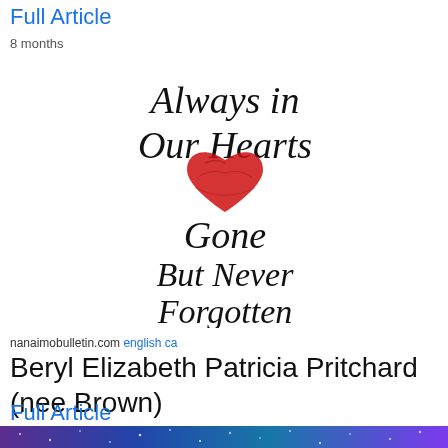Full Article
8 months
[Figure (illustration): Memorial graphic with cursive script reading 'Always in Our Hearts' with a red heart image below, and cursive text 'Gone But Never Forgotten']
nanaimobulletin.com english ca
Beryl Elizabeth Patricia Pritchard (nee Brown)
Full Article
12 months
[Figure (photo): Bottom strip showing a starry night sky / galaxy background in purple and blue tones]